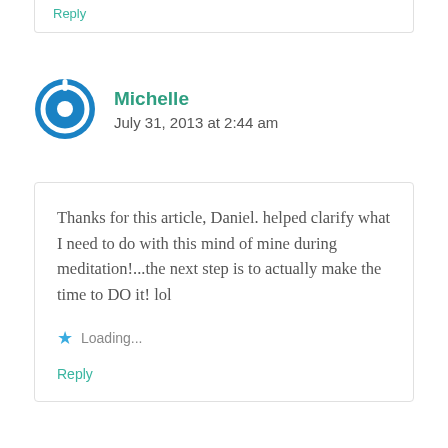Reply
Michelle
July 31, 2013 at 2:44 am
Thanks for this article, Daniel. helped clarify what I need to do with this mind of mine during meditation!...the next step is to actually make the time to DO it! lol
Loading...
Reply